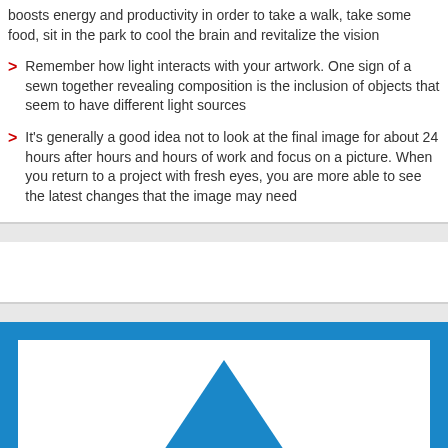boosts energy and productivity in order to take a walk, take some food, sit in the park to cool the brain and revitalize the vision
Remember how light interacts with your artwork. One sign of a sewn together revealing composition is the inclusion of objects that seem to have different light sources
It's generally a good idea not to look at the final image for about 24 hours after hours and hours of work and focus on a picture. When you return to a project with fresh eyes, you are more able to see the latest changes that the image may need
[Figure (illustration): Blue framed illustration with a blue triangle (mountain/pyramid shape) centered on a white background, with a thick blue border around the white area.]